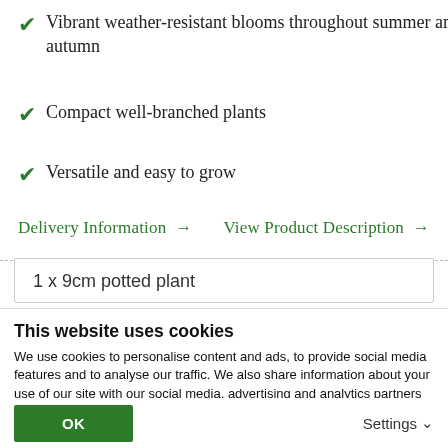Vibrant weather-resistant blooms throughout summer and autumn
Compact well-branched plants
Versatile and easy to grow
Delivery Information →    View Product Description →
1 x 9cm potted plant
This website uses cookies
We use cookies to personalise content and ads, to provide social media features and to analyse our traffic. We also share information about your use of our site with our social media, advertising and analytics partners who may combine it with other information that you've provided to them or that they've collected from your use of their services.
OK    Settings